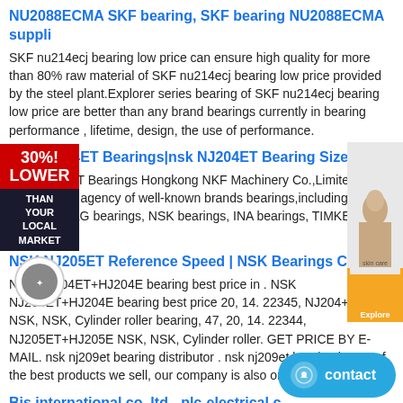NU2088ECMA SKF bearing, SKF bearing NU2088ECMA suppli
SKF nu214ecj bearing low price can ensure high quality for more than 80% raw material of SKF nu214ecj bearing low price provided by the steel plant.Explorer series bearing of SKF nu214ecj bearing low price are better than any brand bearings currently in bearing performance , lifetime, design, the use of performance.
nsk NJ204ET Bearings|nsk NJ204ET Bearing Size - nsk .
nsk NJ204ET Bearings Hongkong NKF Machinery Co.,Limited. ---a professional agency of well-known brands bearings,including SKF bearings, FAG bearings, NSK bearings, INA bearings, TIMKEN bearings, .
NSK NJ205ET Reference Speed | NSK Bearings Chillicot
NSK NJ204ET+HJ204E bearing best price in . NSK NJ204ET+HJ204E bearing best price 20, 14. 22345, NJ204+HJ204 NSK, NSK, Cylinder roller bearing, 47, 20, 14. 22344, NJ205ET+HJ205E NSK, NSK, Cylinder roller. GET PRICE BY E-MAIL. nsk nj209et bearing distributor . nsk nj209et bearing is one of the best products we sell, our company is also one of the ...
Bis international co.,ltd - plc-electrical.c
Our professional sales NUP2313EC bearings, can provide installation dimensions, weight, bearing NUP2313EC (SKF brand of cylindrical